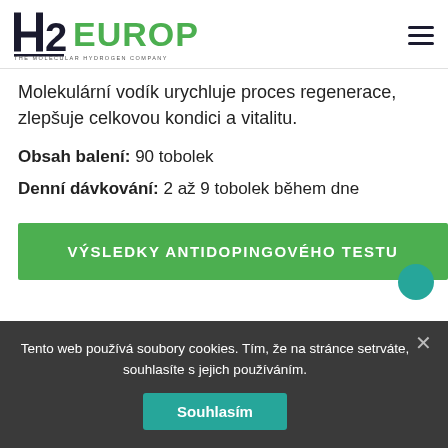H2 EUROPE — THE MOLECULAR HYDROGEN COMPANY
Molekulární vodík urychluje proces regenerace, zlepšuje celkovou kondici a vitalitu.
Obsah balení: 90 tobolek
Denní dávkování: 2 až 9 tobolek během dne
VÝSLEDKY ANTIDOPINGOVÉHO TESTU
Tento web používá soubory cookies. Tím, že na stránce setrváte, souhlasíte s jejich používáním.
Souhlasím